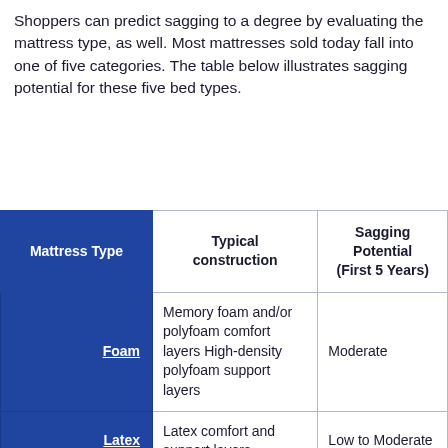Shoppers can predict sagging to a degree by evaluating the mattress type, as well. Most mattresses sold today fall into one of five categories. The table below illustrates sagging potential for these five bed types.
| Mattress Type | Typical construction | Sagging Potential (First 5 Years) |
| --- | --- | --- |
| Foam | Memory foam and/or polyfoam comfort layers High-density polyfoam support layers | Moderate |
| Latex | Latex comfort and support layers | Low to Moderate |